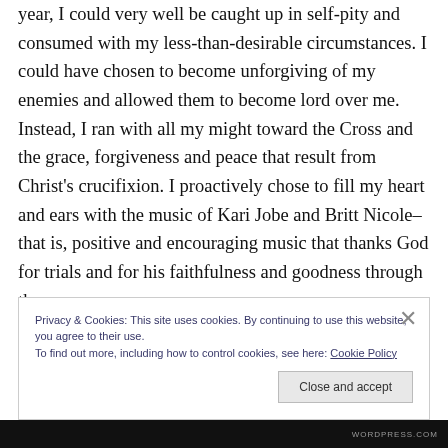year, I could very well be caught up in self-pity and consumed with my less-than-desirable circumstances. I could have chosen to become unforgiving of my enemies and allowed them to become lord over me. Instead, I ran with all my might toward the Cross and the grace, forgiveness and peace that result from Christ's crucifixion. I proactively chose to fill my heart and ears with the music of Kari Jobe and Britt Nicole–that is, positive and encouraging music that thanks God for trials and for his faithfulness and goodness through them.
Privacy & Cookies: This site uses cookies. By continuing to use this website, you agree to their use.
To find out more, including how to control cookies, see here: Cookie Policy
Close and accept